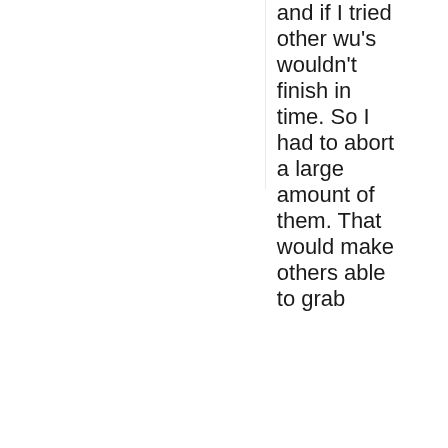and if I tried other wu's wouldn't finish in time. So I had to abort a large amount of them. That would make others able to grab